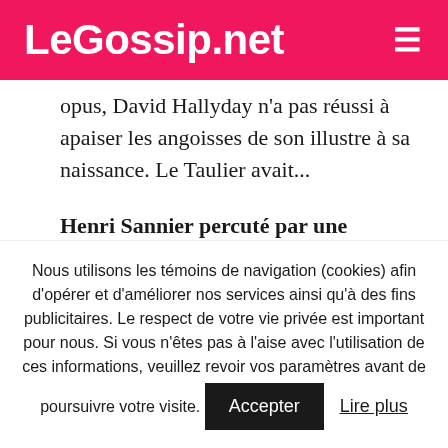LeGossip.net
opus, David Hallyday n'a pas réussi à apaiser les angoisses de son illustre à sa naissance. Le Taulier avait...
Henri Sannier percuté par une voiture, il rassure sur son état Ce 21 juillet, Henri Sannier, l'ex-présentateur du JT de France 3, a
Nous utilisons les témoins de navigation (cookies) afin d'opérer et d'améliorer nos services ainsi qu'à des fins publicitaires. Le respect de votre vie privée est important pour nous. Si vous n'êtes pas à l'aise avec l'utilisation de ces informations, veuillez revoir vos paramètres avant de poursuivre votre visite.
Accepter
Lire plus